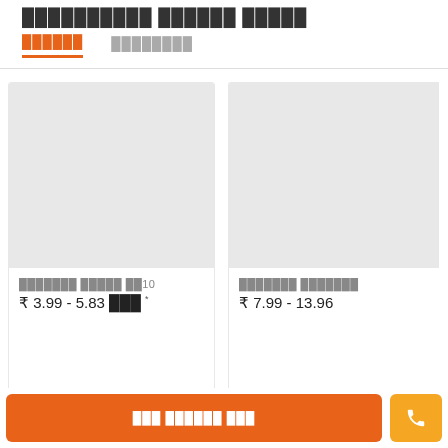██████████ ██████ █████
██████ / ████████
[Figure (photo): Product image placeholder - light gray rectangle]
███████ █████ ██10
₹ 3.99 - 5.83 ███ *
[Figure (photo): Product image placeholder - light gray rectangle (partially visible)]
███████ ███████
₹ 7.99 - 13.96
███ ██████ ███ (button)